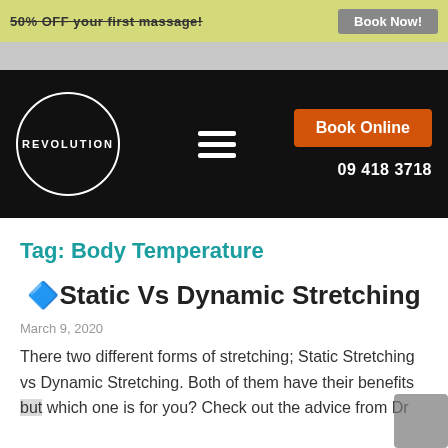50% OFF your first massage! Book Now!
[Figure (logo): Revolution logo in a white circle on black navigation bar with hamburger menu, Book Online orange button, and phone number 09 418 3718]
Tag: Body Temperature
🔷Static Vs Dynamic Stretching
March 9, 2020
There two different forms of stretching; Static Stretching vs Dynamic Stretching. Both of them have their benefits but which one is for you? Check out the advice from Dr